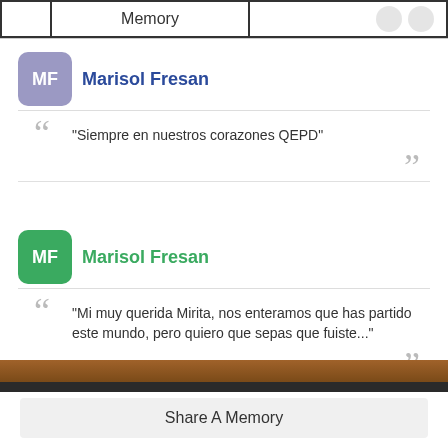[Figure (screenshot): Top navigation bar with 'Memory' tab selected, and two circular icons on the right]
MF
Marisol Fresan
"Siempre en nuestros corazones QEPD"
MF
Marisol Fresan
"Mi muy querida Mirita, nos enteramos que has partido este mundo, pero quiero que sepas que fuiste..."
Share A Memory